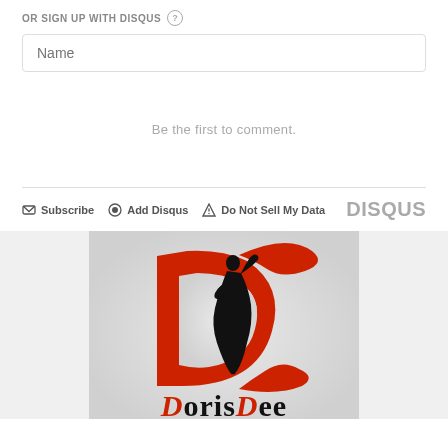OR SIGN UP WITH DISQUS ?
Name
Be the first to comment.
Subscribe  Add Disqus  Do Not Sell My Data  DISQUS
[Figure (logo): Doris Dee fashion brand logo featuring a red letter D with a silhouette of a woman in a dress, and the text 'DorisDee' below in black serif font.]